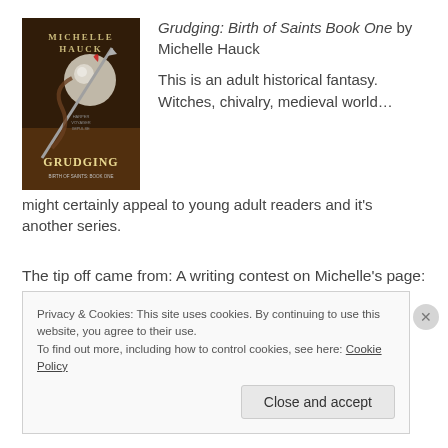[Figure (illustration): Book cover of 'Grudging: Birth of Saints Book One' by Michelle Hauck. Dark cover showing a sword and metallic orb with text 'Michelle Hauck' and 'Grudging Birth of Saints Book One'. Published by Harper Voyager Impulse.]
Grudging: Birth of Saints Book One by Michelle Hauck
This is an adult historical fantasy. Witches, chivalry, medieval world… might certainly appeal to young adult readers and it's another series.
The tip off came from: A writing contest on Michelle's page: Michelle4Laughs.com
Privacy & Cookies: This site uses cookies. By continuing to use this website, you agree to their use.
To find out more, including how to control cookies, see here: Cookie Policy
Close and accept